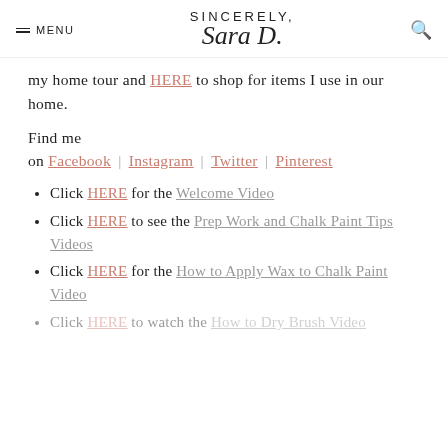MENU | SINCERELY, Sara D. | [search icon]
my home tour and HERE to shop for items I use in our home.
Find me on Facebook | Instagram | Twitter | Pinterest
Click HERE for the Welcome Video
Click HERE to see the Prep Work and Chalk Paint Tips Videos
Click HERE for the How to Apply Wax to Chalk Paint Video
Click HERE to watch the How to Dry Brush Video